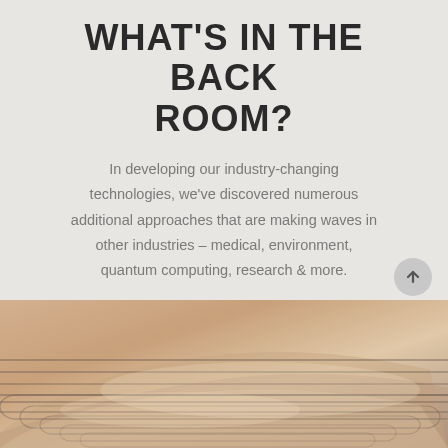WHAT'S IN THE BACK ROOM?
In developing our industry-changing technologies, we've discovered numerous additional approaches that are making waves in other industries – medical, environment, quantum computing, research & more.
Learn more about our capabilities and how you could partner with us.
LEARN MORE
[Figure (photo): Close-up photograph of layered metallic or material waves with rounded rectangular shapes, showing a pearlescent, warm-toned surface with concentric curved lines]